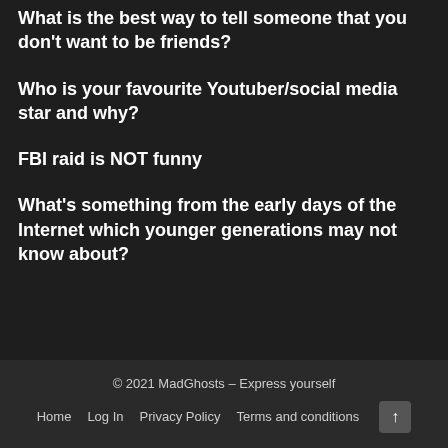What is the best way to tell someone that you don't want to be friends?
Who is your favourite Youtuber/social media star and why?
FBI raid is NOT funny
What's something from the early days of the Internet which younger generations may not know about?
© 2021 MadGhosts – Express yourself
Home  Log In  Privacy Policy  Terms and conditions